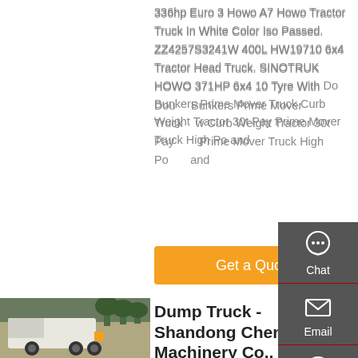336hp Euro 3 Howo A7 Howo Tractor Truck In White Color Iso Passed. ZZ4257S3241W 400L HW19710 6x4 Tractor Head Truck. SINOTRUK HOWO 371HP 6x4 10 Tyre With Double Bunkers Prime Mover Truck Low Curb Weight Tractor 30t Payload Prime Mover Truck High Power and
[Figure (other): Orange Get a Quote button]
[Figure (photo): White tractor truck (prime mover) parked in front of green trees, viewed from front-left angle]
Dump Truck - Shandong Chengda Machinery Co., Ltd
[Figure (infographic): Right sidebar with Chat, Email, Contact, and Top navigation icons on dark grey background]